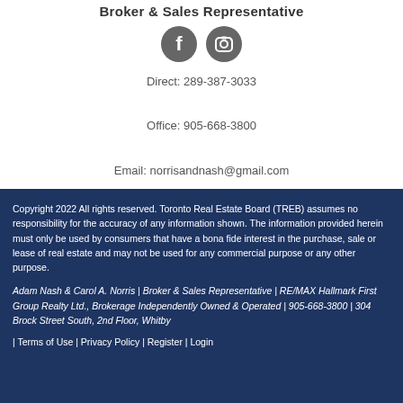Broker & Sales Representative
[Figure (illustration): Two circular social media icons: Facebook (f) and Instagram (camera) on grey circles]
Direct: 289-387-3033
Office: 905-668-3800
Email: norrisandnash@gmail.com
Copyright 2022 All rights reserved. Toronto Real Estate Board (TREB) assumes no responsibility for the accuracy of any information shown. The information provided herein must only be used by consumers that have a bona fide interest in the purchase, sale or lease of real estate and may not be used for any commercial purpose or any other purpose.
Adam Nash & Carol A. Norris | Broker & Sales Representative | RE/MAX Hallmark First Group Realty Ltd., Brokerage Independently Owned & Operated | 905-668-3800 | 304 Brock Street South, 2nd Floor, Whitby
| Terms of Use | Privacy Policy | Register | Login